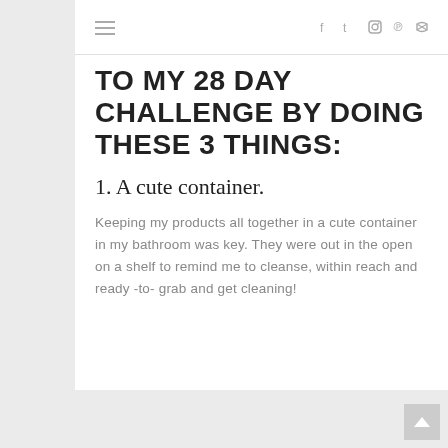≡  f  t  ◎  ℗  ⌾
TO MY 28 DAY CHALLENGE BY DOING THESE 3 THINGS:
1. A cute container.
Keeping my products all together in a cute container in my bathroom was key. They were out in the open on a shelf to remind me to cleanse, within reach and ready -to- grab and get cleaning!